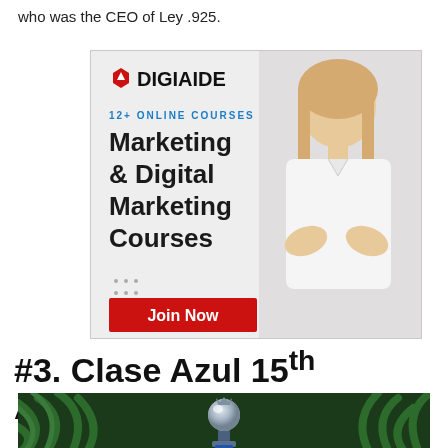who was the CEO of Ley .925.
[Figure (illustration): DigiAide advertisement banner featuring a woman with crossed arms in a white shirt. Shows logo, '12+ ONLINE COURSES', headline 'Marketing & Digital Marketing Courses', and a red 'Join Now' button on a light grey background.]
#3. Clase Azul 15th Anniversary Edition
[Figure (photo): Bottom portion of a photo showing green pine/Christmas tree branches with a decorative silver/blue ornament or trophy in the center.]